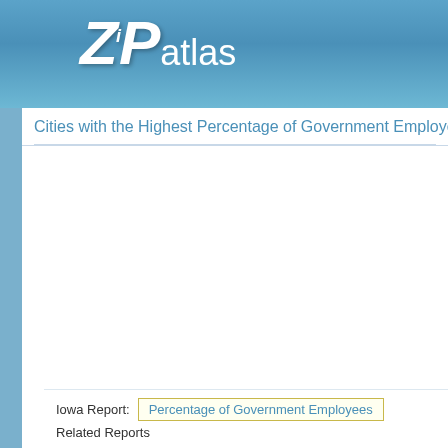[Figure (logo): ZIPAtlas logo with stylized ZIP text and 'atlas' label on blue gradient header background]
Cities with the Highest Percentage of Government Employees
Iowa Report: Percentage of Government Employees
Related Reports